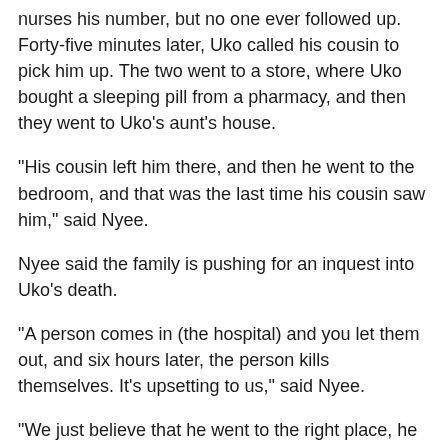nurses his number, but no one ever followed up. Forty-five minutes later, Uko called his cousin to pick him up. The two went to a store, where Uko bought a sleeping pill from a pharmacy, and then they went to Uko's aunt's house.
"His cousin left him there, and then he went to the bedroom, and that was the last time his cousin saw him," said Nyee.
Nyee said the family is pushing for an inquest into Uko's death.
"A person comes in (the hospital) and you let them out, and six hours later, the person kills themselves. It's upsetting to us," said Nyee.
"We just believe that he went to the right place, he took the proper steps, he knew there was an issue and he was still denied help," said Judy Wani, a member of the Regina community also calling for an inquest.